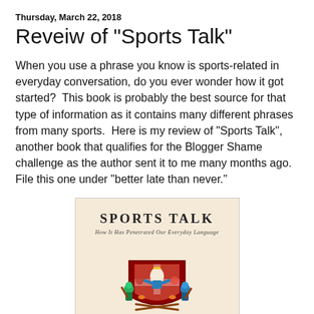Thursday, March 22, 2018
Reveiw of "Sports Talk"
When you use a phrase you know is sports-related in everyday conversation, do you ever wonder how it got started?  This book is probably the best source for that type of information as it contains many different phrases from many sports.  Here is my review of "Sports Talk", another book that qualifies for the Blogger Shame challenge as the author sent it to me many months ago.  File this one under "better late than never."
[Figure (illustration): Book cover of 'Sports Talk: How It Has Penetrated Our Everyday Language' with a heraldic coat of arms illustration featuring sports-themed characters on a cream/beige background]